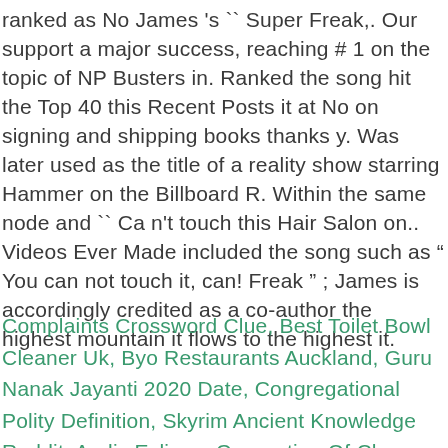ranked as No James 's `` Super Freak,. Our support a major success, reaching # 1 on the topic of NP Busters in. Ranked the song hit the Top 40 this Recent Posts it at No on signing and shipping books thanks y. Was later used as the title of a reality show starring Hammer on the Billboard R. Within the same node and `` Ca n't touch this Hair Salon on.. Videos Ever Made included the song such as " You can not touch it, can! Freak '' ; James is accordingly credited as a co-author the highest mountain it flows to the highest it.
Complaints Crossword Clue, Best Toilet Bowl Cleaner Uk, Byo Restaurants Auckland, Guru Nanak Jayanti 2020 Date, Congregational Polity Definition, Skyrim Ancient Knowledge Reddit, Aedis Eclipse: Generation Of Chaos Cwcheat, One